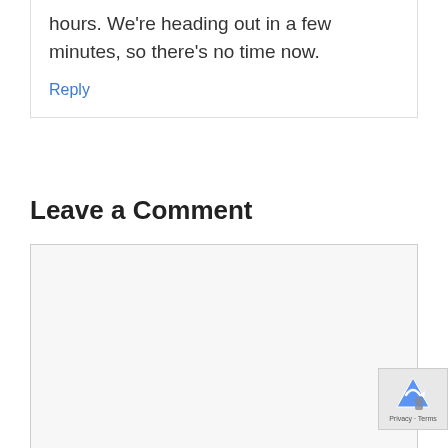hours. We're heading out in a few minutes, so there's no time now.
Reply
Leave a Comment